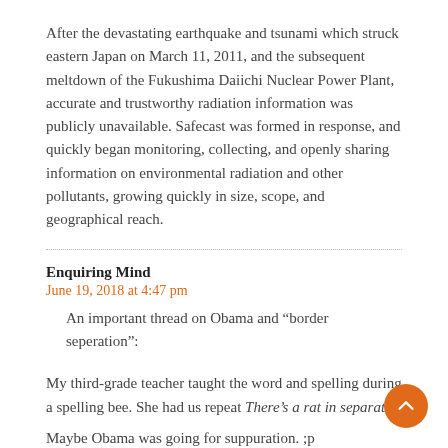After the devastating earthquake and tsunami which struck eastern Japan on March 11, 2011, and the subsequent meltdown of the Fukushima Daiichi Nuclear Power Plant, accurate and trustworthy radiation information was publicly unavailable. Safecast was formed in response, and quickly began monitoring, collecting, and openly sharing information on environmental radiation and other pollutants, growing quickly in size, scope, and geographical reach.
Enquiring Mind
June 19, 2018 at 4:47 pm
An important thread on Obama and “border seperation”:
My third-grade teacher taught the word and spelling during a spelling bee. She had us repeat There’s a rat in separate.
Maybe Obama was going for suppuration. ;p
Lambert Strether
June 19, 2018 at 5:21 pm